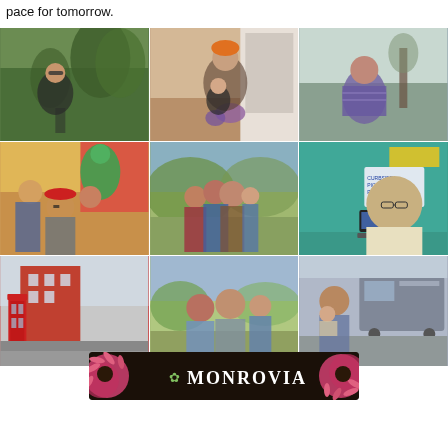pace for tomorrow.
[Figure (photo): 3x3 grid of personal photos: row 1: woman in greenhouse with plants, mother and baby on steps with flowers, woman outdoors in winter; row 2: family selfie with children and dragon/pirate costumes, family of four outdoors in fall, blonde woman at desk with 'Curbside Pickup Powerup' sign; row 3: street scene with red phone box, two men with child outdoors, man with baby near RV. A Monrovia brand logo banner overlays the bottom third of the grid, featuring pink coneflowers and the Monrovia name in white serif text.]